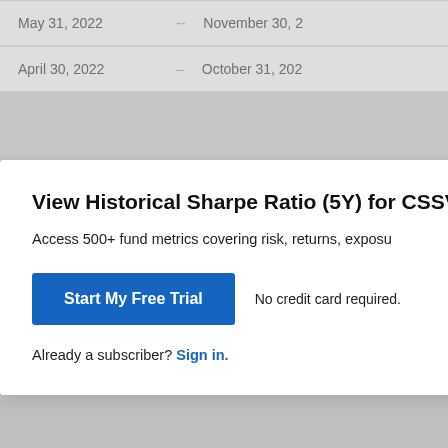| May 31, 2022 | -- | November 30, 2... |
| April 30, 2022 | -- | October 31, 202... |
View Historical Sharpe Ratio (5Y) for CSSVX
Access 500+ fund metrics covering risk, returns, exposu...
Start My Free Trial
No credit card required.
Already a subscriber? Sign in.